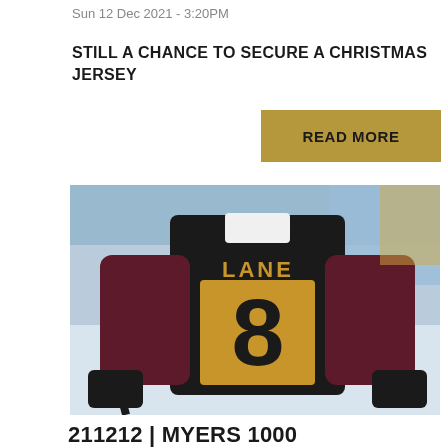Sun 12 Dec 2021 - 3:20PM
STILL A CHANCE TO SECURE A CHRISTMAS JERSEY
READ MORE
[Figure (photo): Ice hockey player wearing black jersey with number 8 and name LANE, maroon sleeves, seen from behind on ice rink]
211212 | MYERS 1000